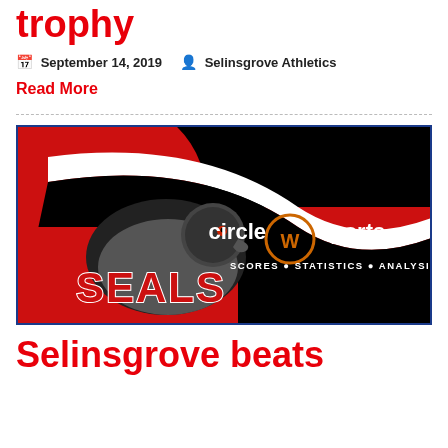trophy
September 14, 2019   Selinsgrove Athletics
Read More
[Figure (logo): Selinsgrove Seals and Circle W Sports banner logo on black and red background with text: SEALS, circle W sports, SCORES • STATISTICS • ANALYSIS]
Selinsgrove beats